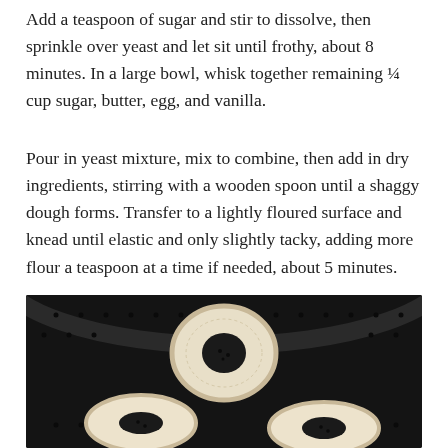Add a teaspoon of sugar and stir to dissolve, then sprinkle over yeast and let sit until frothy, about 8 minutes. In a large bowl, whisk together remaining ¼ cup sugar, butter, egg, and vanilla.
Pour in yeast mixture, mix to combine, then add in dry ingredients, stirring with a wooden spoon until a shaggy dough forms. Transfer to a lightly floured surface and knead until elastic and only slightly tacky, adding more flour a teaspoon at a time if needed, about 5 minutes.
[Figure (photo): Overhead photo of three uncooked ring-shaped doughnut dough pieces placed in a dark air fryer basket with perforated holes. The dough rings are pale/cream colored and sit on the black metal mesh surface of the air fryer.]